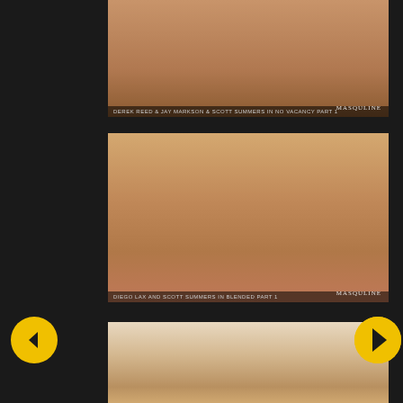[Figure (photo): Partial view of adult content photo with watermark MASQULINE at bottom right and caption bar at bottom]
[Figure (photo): Three adult males posing together in a hotel room, with MASQULINE watermark at bottom right and caption bar at bottom]
[Figure (photo): Three adult males smiling together, partially visible, with navigation arrows on sides]